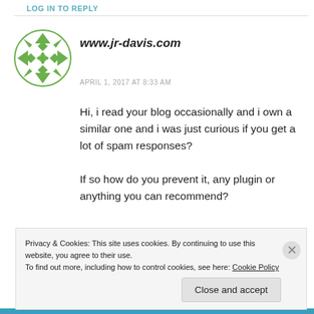LOG IN TO REPLY
[Figure (illustration): Green geometric circular avatar/icon for www.jr-davis.com commenter]
www.jr-davis.com
APRIL 1, 2017 AT 8:33 AM
Hi, i read your blog occasionally and i own a similar one and i was just curious if you get a lot of spam responses?

If so how do you prevent it, any plugin or anything you can recommend?
Privacy & Cookies: This site uses cookies. By continuing to use this website, you agree to their use.
To find out more, including how to control cookies, see here: Cookie Policy
Close and accept